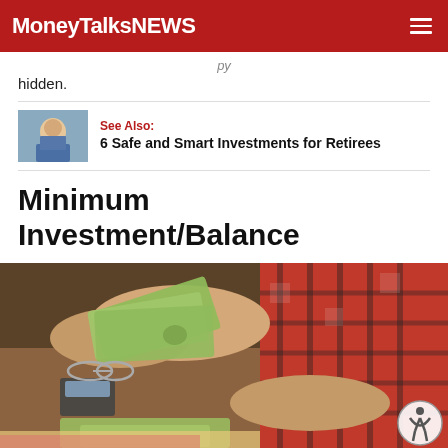MoneyTalksNews
hidden.
See Also: 6 Safe and Smart Investments for Retirees
Minimum Investment/Balance
[Figure (photo): Elderly person in red plaid shirt counting dollar bills on a table with a calculator and glasses nearby]